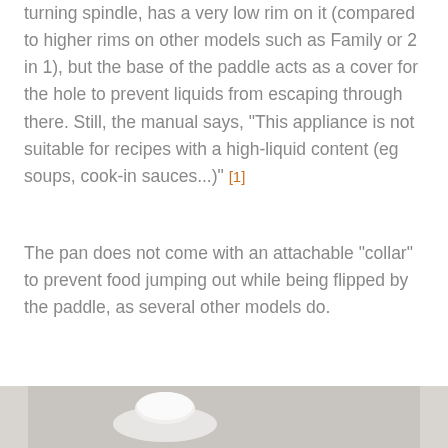turning spindle, has a very low rim on it (compared to higher rims on other models such as Family or 2 in 1), but the base of the paddle acts as a cover for the hole to prevent liquids from escaping through there. Still, the manual says, “This appliance is not suitable for recipes with a high-liquid content (eg soups, cook-in sauces...)” [1]
The pan does not come with an attachable “collar” to prevent food jumping out while being flipped by the paddle, as several other models do.
[Figure (photo): Partial photo showing a white cylindrical object (likely the bread pan or paddle component) against a light grey background, cropped at the bottom of the page.]